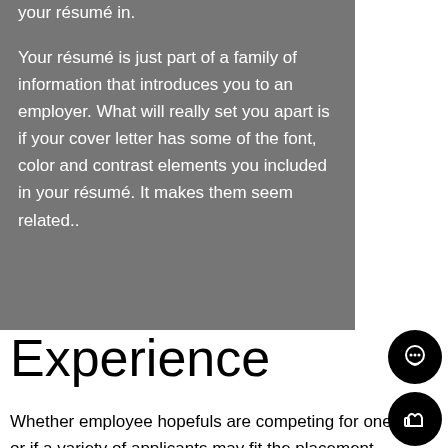your résumé in.
Your résumé is just part of a family of information that introduces you to an employer. What will really set you apart is if your cover letter has some of the font, color and contrast elements you included in your résumé. It makes them seem related..
Experience
Whether employee hopefuls are competing for one or if a variety of applicants may fit the placement, specific experience will help to set them apart.
"Pay attention to direction," Hamilton said. "If a position